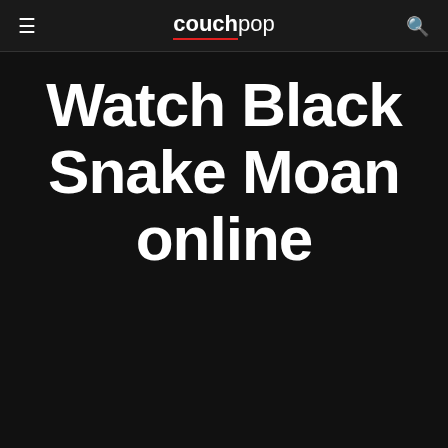couchpop
Watch Black Snake Moan online